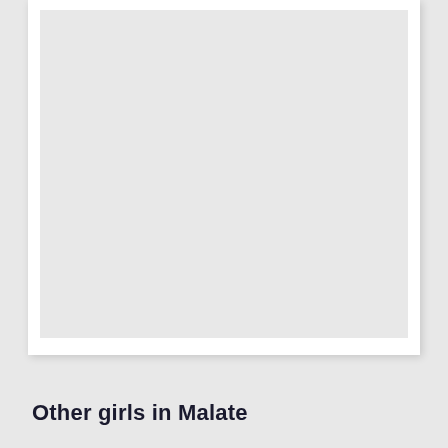[Figure (photo): A large light gray rectangular image placeholder area within a white card, shown partially cropped at the top of the page.]
Other girls in Malate